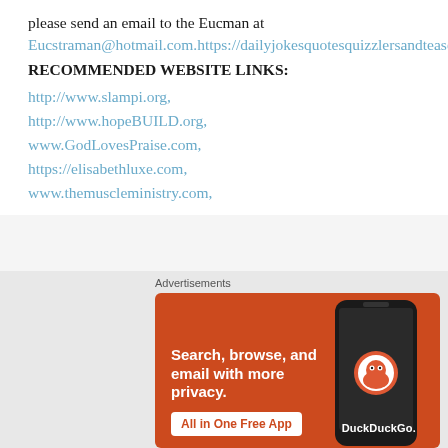please send an email to the Eucman at Eucstraman@hotmail.com.https://dailyjokesquotesquizzlersandteases.wordpress.com/
RECOMMENDED WEBSITE LINKS:
http://www.slampi.org, http://www.hopeBUILD.org, www.GodLovesPraise.com, https://elisabethluxe.com, www.themuscleministry.com,
[Figure (other): DuckDuckGo advertisement banner with orange background showing 'Search, browse, and email with more privacy. All in One Free App' with DuckDuckGo logo and phone mockup]
Advertisements